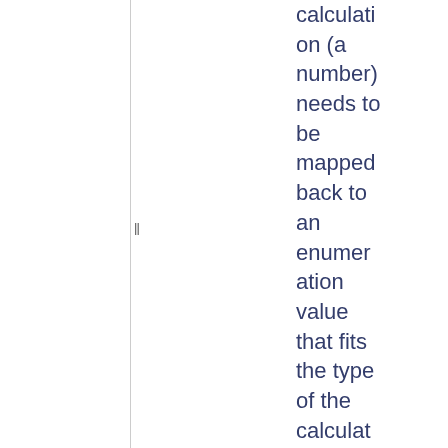calculation (a number) needs to be mapped back to an enumeration value that fits the type of the calculated field.

The numbers in the mapping represe